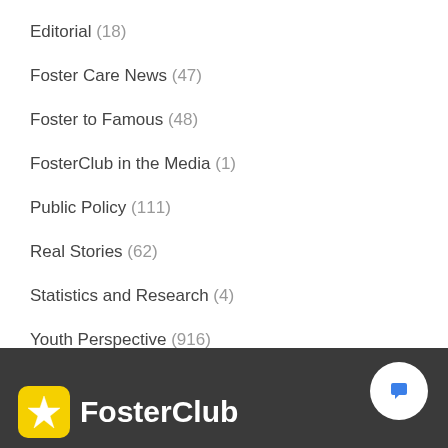Editorial (18)
Foster Care News (47)
Foster to Famous (48)
FosterClub in the Media (1)
Public Policy (111)
Real Stories (62)
Statistics and Research (4)
Youth Perspective (916)
FosterClub